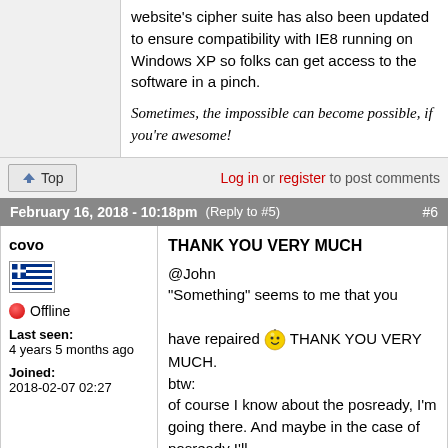website's cipher suite has also been updated to ensure compatibility with IE8 running on Windows XP so folks can get access to the software in a pinch.
Sometimes, the impossible can become possible, if you're awesome!
Top
Log in or register to post comments
February 16, 2018 - 10:18pm (Reply to #5) #6
covo
Offline
Last seen: 4 years 5 months ago
Joined: 2018-02-07 02:27
THANK YOU VERY MUCH @John "Something" seems to me that you have repaired THANK YOU VERY MUCH. btw: of course I know about the posready, I'm going there. And maybe in the case of posready I'll